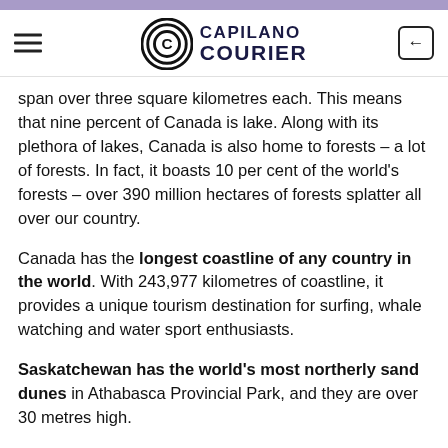Capilano Courier
span over three square kilometres each. This means that nine percent of Canada is lake. Along with its plethora of lakes, Canada is also home to forests – a lot of forests. In fact, it boasts 10 per cent of the world's forests – over 390 million hectares of forests splatter all over our country.
Canada has the longest coastline of any country in the world. With 243,977 kilometres of coastline, it provides a unique tourism destination for surfing, whale watching and water sport enthusiasts.
Saskatchewan has the world's most northerly sand dunes in Athabasca Provincial Park, and they are over 30 metres high.